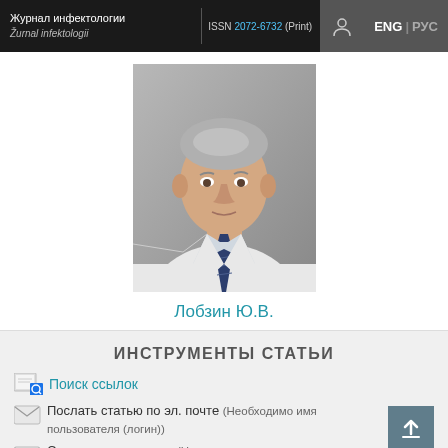Журнал инфектологии | Žurnal infektologii | ISSN 2072-6732 (Print) | ENG | РУС
[Figure (photo): Portrait photo of an elderly male doctor wearing a white lab coat and striped tie, gray background]
Лобзин Ю.В.
ИНСТРУМЕНТЫ СТАТЬИ
Поиск ссылок
Послать статью по эл. почте (Необходимо имя пользователя (логин))
Связаться с автором (Нуж...